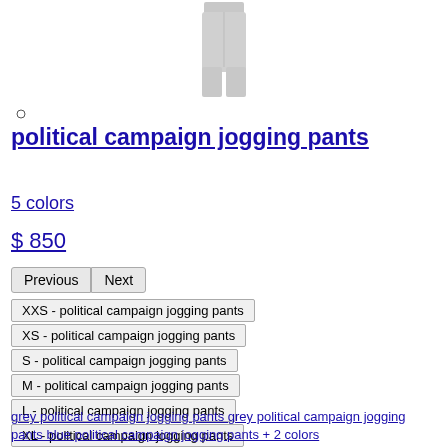[Figure (photo): Product image of grey jogging pants on a mannequin/person, cropped showing lower torso and legs]
political campaign jogging pants
5 colors
$ 850
XXS - political campaign jogging pants
XS - political campaign jogging pants
S - political campaign jogging pants
M - political campaign jogging pants
L - political campaign jogging pants
XL - political campaign jogging pants
grey political campaign jogging pants grey political campaign jogging pants blue political campaign jogging pants + 2 colors